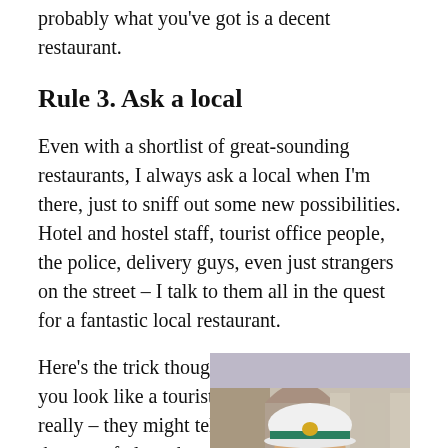probably what you've got is a decent restaurant.
Rule 3. Ask a local
Even with a shortlist of great-sounding restaurants, I always ask a local when I'm there, just to sniff out some new possibilities. Hotel and hostel staff, tourist office people, the police, delivery guys, even just strangers on the street – I talk to them all in the quest for a fantastic local restaurant.
Here's the trick though. Because you look like a tourist – you do, really – they might tell you about the sort of place they think you should go to, rather
[Figure (photo): A police officer in uniform wearing a white helmet with a green band and gold emblem, smiling, standing in front of a building with arches.]